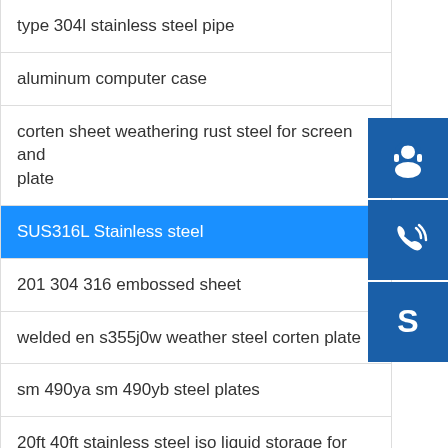type 304l stainless steel pipe
aluminum computer case
corten sheet weathering rust steel for screen and plate
SUS316L Stainless steel
201 304 316 embossed sheet
welded en s355j0w weather steel corten plate
sm 490ya sm 490yb steel plates
20ft 40ft stainless steel iso liquid storage for sale
[Figure (illustration): Three sidebar icon buttons: customer service (headset icon), phone call (phone icon), Skype (S logo icon), all on dark blue background]